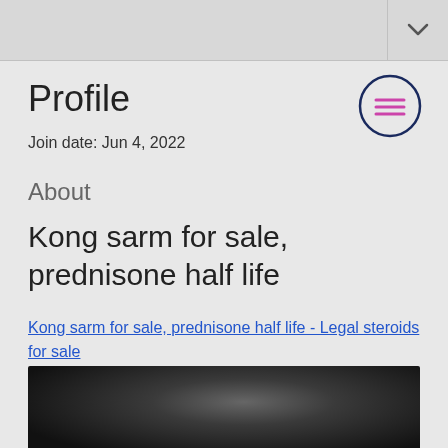Profile
Join date: Jun 4, 2022
About
Kong sarm for sale, prednisone half life
Kong sarm for sale, prednisone half life - Legal steroids for sale
[Figure (photo): Dark blurred photograph]